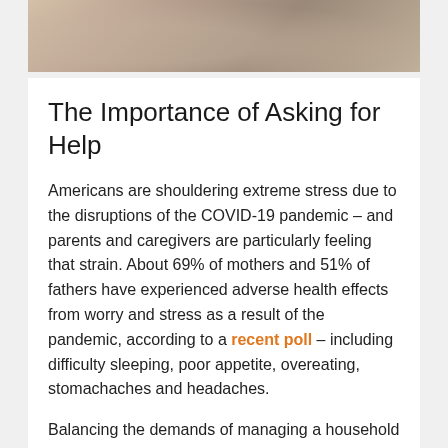[Figure (photo): Photograph of people working on a laptop, partial view showing hands and clothing, cropped at top of page]
The Importance of Asking for Help
Americans are shouldering extreme stress due to the disruptions of the COVID-19 pandemic – and parents and caregivers are particularly feeling that strain. About 69% of mothers and 51% of fathers have experienced adverse health effects from worry and stress as a result of the pandemic, according to a recent poll – including difficulty sleeping, poor appetite, overeating, stomachaches and headaches.
Balancing the demands of managing a household while meeting work deadlines and ensuring children are safe, fed and able to learn is difficult enough. Now with the stress of constant changes brought by pandemic precautions, many parents and caregivers are approaching burnout. While asking for help may seem like...